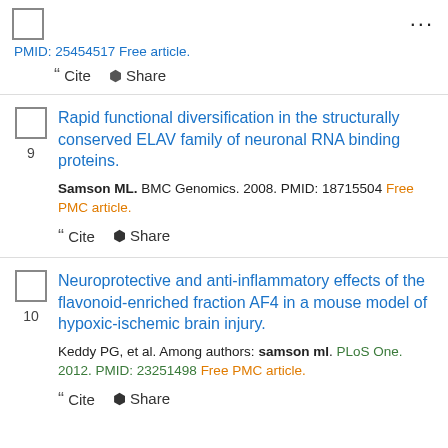PMID: 25454517 Free article.
" Cite  Share
Rapid functional diversification in the structurally conserved ELAV family of neuronal RNA binding proteins.
Samson ML. BMC Genomics. 2008. PMID: 18715504 Free PMC article.
" Cite  Share
Neuroprotective and anti-inflammatory effects of the flavonoid-enriched fraction AF4 in a mouse model of hypoxic-ischemic brain injury.
Keddy PG, et al. Among authors: samson ml. PLoS One. 2012. PMID: 23251498 Free PMC article.
" Cite  Share